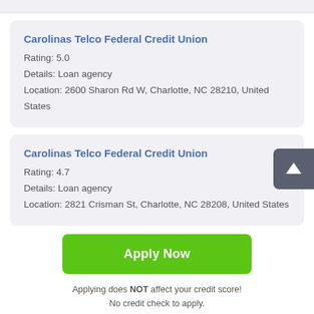Carolinas Telco Federal Credit Union
Rating: 5.0
Details: Loan agency
Location: 2600 Sharon Rd W, Charlotte, NC 28210, United States
Carolinas Telco Federal Credit Union
Rating: 4.7
Details: Loan agency
Location: 2821 Crisman St, Charlotte, NC 28208, United States
Apply Now
Applying does NOT affect your credit score! No credit check to apply.